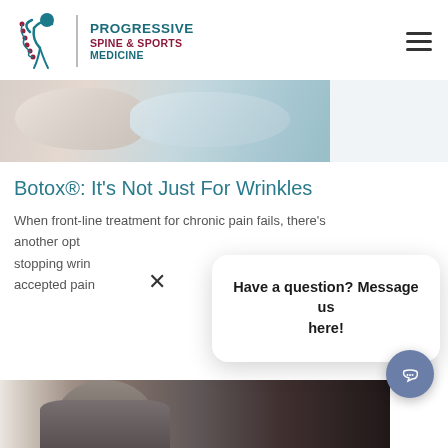[Figure (logo): Progressive Spine & Sports Medicine logo with teal figure and spine icon]
[Figure (photo): Close-up of gloved hands performing a medical injection procedure]
Botox®: It's Not Just For Wrinkles
When front-line treatment for chronic pain fails, there's another opt[ion]... stopping wrin[kles]... accepted pain...
[Figure (screenshot): Have a question? Message us here! chat popup with X close button]
[Figure (photo): Man with glasses in medical consultation context, partially visible at bottom]